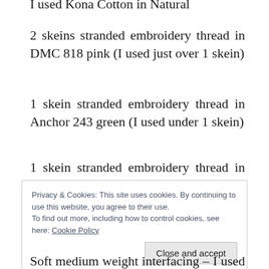I used Kona Cotton in Natural
2 skeins stranded embroidery thread in DMC 818 pink (I used just over 1 skein)
1 skein stranded embroidery thread in Anchor 243 green (I used under 1 skein)
1 skein stranded embroidery thread in DMC 727 yellow (I used under 1 skein)
Privacy & Cookies: This site uses cookies. By continuing to use this website, you agree to their use. To find out more, including how to control cookies, see here: Cookie Policy
Close and accept
Soft medium weight interfacing – I used this